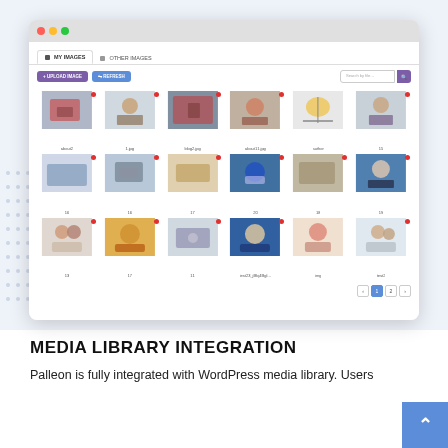[Figure (screenshot): Browser window screenshot showing a media library integration UI with tabs 'MY IMAGES' and 'OTHER IMAGES', toolbar with 'UPLOAD IMAGE' and 'REFRESH' buttons, a search field, and a grid of 18 thumbnail images with file labels and delete buttons, plus pagination controls showing pages 1 and 2.]
MEDIA LIBRARY INTEGRATION
Palleon is fully integrated with WordPress media library. Users